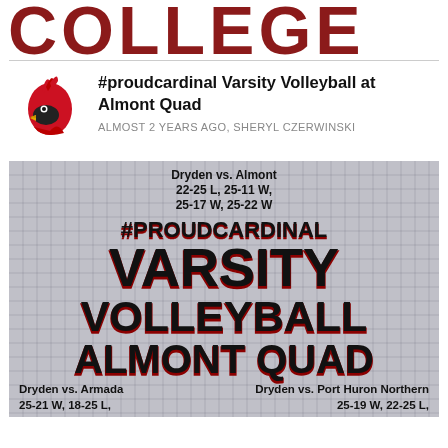COLLEGE
#proudcardinal Varsity Volleyball at Almont Quad
ALMOST 2 YEARS AGO, SHERYL CZERWINSKI
[Figure (infographic): Sports graphic with grid background showing Dryden varsity volleyball results at Almont Quad. Top section: Dryden vs. Almont 22-25 L, 25-11 W, 25-17 W, 25-22 W. Large bold text: #PROUDCARDINAL VARSITY VOLLEYBALL ALMONT QUAD. Bottom: Dryden vs. Armada 25-21 W, 18-25 L / Dryden vs. Port Huron Northern 25-19 W, 22-25 L.]